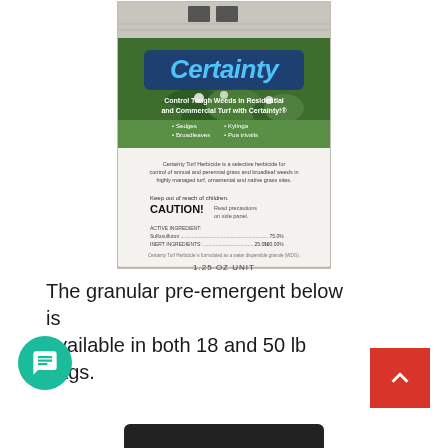[Figure (photo): Photo of a Certainty Turf Herbicide product box (1.25 oz unit). The box shows 'Certainty' brand name in bold blue italic text on a green lawn/garden background, with text 'Control Tough Weeds in Residential and Commercial Turf with Certainty!', bullet points listing Sedges, Broadleaves, Kylinga, Poa trivalis, and product information including CAUTION warning, active ingredients, and '1.25 OZ UNIT' at bottom.]
The granular pre-emergent below is available in both 18 and 50 lb bags.